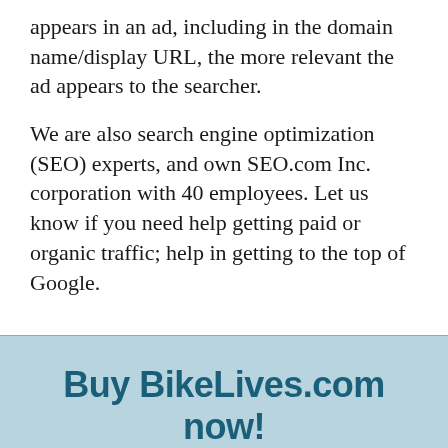appears in an ad, including in the domain name/display URL, the more relevant the ad appears to the searcher.
We are also search engine optimization (SEO) experts, and own SEO.com Inc. corporation with 40 employees. Let us know if you need help getting paid or organic traffic; help in getting to the top of Google.
Buy BikeLives.com now!
BUY NOW
Chat now